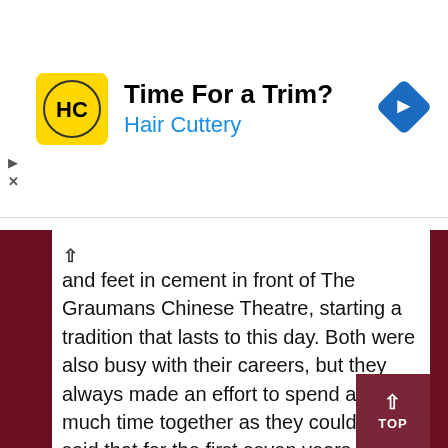[Figure (other): Advertisement banner for Hair Cuttery: 'Time For a Trim?' with HC logo and navigation icon]
and feet in cement in front of The Graumans Chinese Theatre, starting a tradition that lasts to this day. Both were also busy with their careers, but they always made an effort to spend as much time together as they could. It is said that for the first seven years of their marriage, they did not spend one night apart. They wrote each other endless letters and telegrams when they eventually did have to spend some time apart for work and travel love notes were filled with sweet words, romantic declarations and their nicknames for